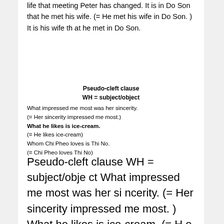life that meeting Peter has changed. It is in Do Son that he met his wife. (= He met his wife in Do Son. ) It is his wife that he met in Do Son.
Pseudo-cleft clause
WH = subject/object
What impressed me most was her sincerity.
(= Her sincerity impressed me most.)
What he likes is ice-cream.
(= He likes ice-cream)
Whom Chi Pheo loves is Thi No.
(= Chi Pheo loves Thi No)
Pseudo-cleft clause WH = subject/object What impressed me most was her sincerity. (= Her sincerity impressed me most. ) What he likes is ice-cream. (= He likes ice-cream) Whom Chi Pheo loves is Thi No. (= Chi Pheo loves Thi No)